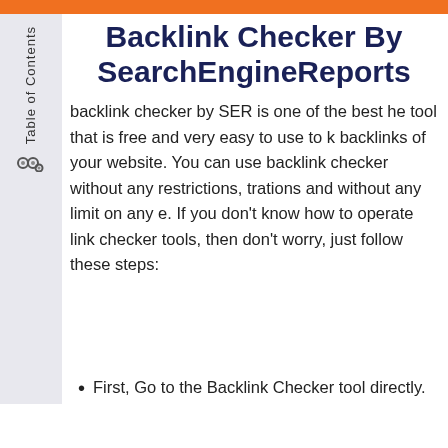Backlink Checker By SearchEngineReports
backlink checker by SER is one of the best he tool that is free and very easy to use to k backlinks of your website. You can use backlink checker without any restrictions, trations and without any limit on any e. If you don't know how to operate link checker tools, then don't worry, just follow these steps:
First, Go to the Backlink Checker tool directly.